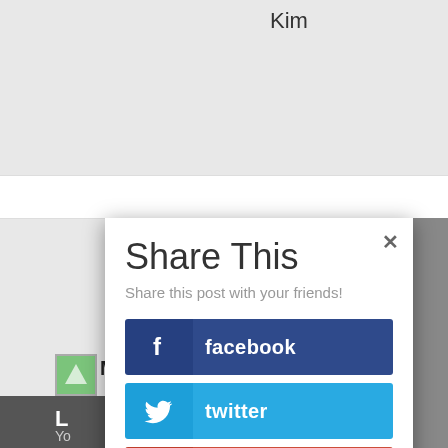Kim
Maricol — September 7, 2011 at 6:58 —
Share This
Share this post with your friends!
facebook
twitter
googleplus
pinterest
reddit